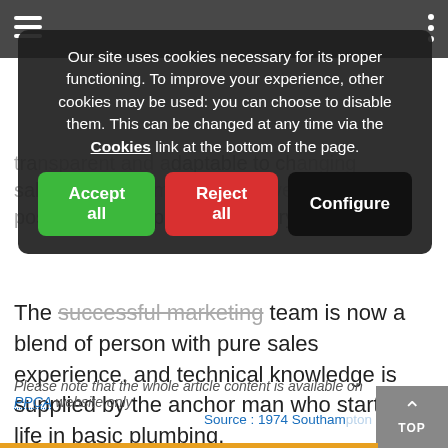Our site uses cookies necessary for its proper functioning. To improve your experience, other cookies may be used: you can choose to disable them. This can be changed at any time via the Cookies link at the bottom of the page.
Accept all | Reject all | Configure
The successful marketing team is now a blend of person with pure sales experience, and technical knowledge is supplied by the anchor man who started life in basic plumbing.
Please note that the whole article content is available on PPCA website only
Source : 1974 Southampton